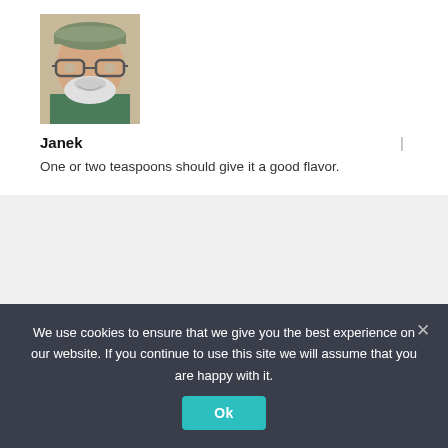[Figure (photo): Profile photo of an older man with glasses, a cap, white beard, smiling, wearing a green shirt]
Janek | One or two teaspoons should give it a good flavor.
[Figure (illustration): Pixelated avatar image with brown and pink colors, resembling a retro game character]
We use cookies to ensure that we give you the best experience on our website. If you continue to use this site we will assume that you are happy with it. Ok